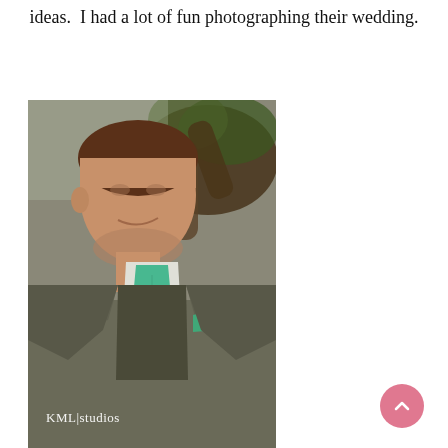were very flexible and willing to try out my ideas.  I had a lot of fun photographing their wedding.
[Figure (photo): Portrait photo of a groom in a gray suit with a teal/mint tie and pocket square, standing in front of a tree. Watermark reads 'KML|studios'.]